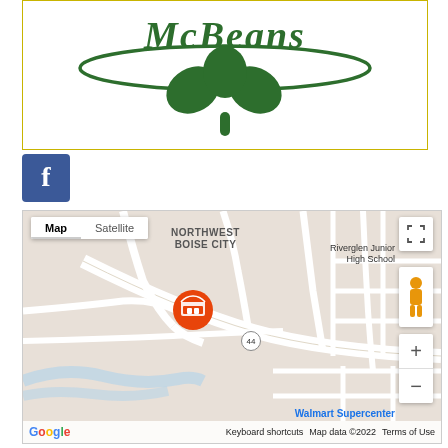[Figure (logo): Partial green shamrock/clover logo with cursive text, partial view at top, on white background with gold/yellow border]
[Figure (logo): Facebook 'f' logo icon, white f on blue square background]
[Figure (map): Google Maps view showing Northwest Boise City area with a location pin marker for a business, streets, and nearby landmarks including Riverglen Junior High School and Walmart Supercenter. Map/Satellite toggle, zoom controls, and Google branding visible.]